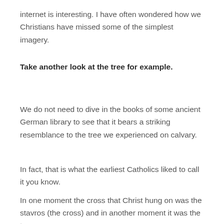internet is interesting. I have often wondered how we Christians have missed some of the simplest imagery.
Take another look at the tree for example.
We do not need to dive in the books of some ancient German library to see that it bears a striking resemblance to the tree we experienced on calvary.
In fact, that is what the earliest Catholics liked to call it you know.
In one moment the cross that Christ hung on was the stavros (the cross) and in another moment it was the tree.
Just think of Acts 13.